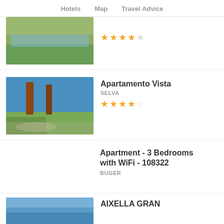Hotels   Map   Travel Advice
[Figure (photo): Swimming pool and garden area with lounge chairs, partially visible from top]
★★★★☆ (4 stars out of 5)
Apartamento Vista
SELVA
★★★½☆ (3.5 stars out of 5)
Apartment - 3 Bedrooms with WiFi - 108322
BUGER
AIXELLA GRAN